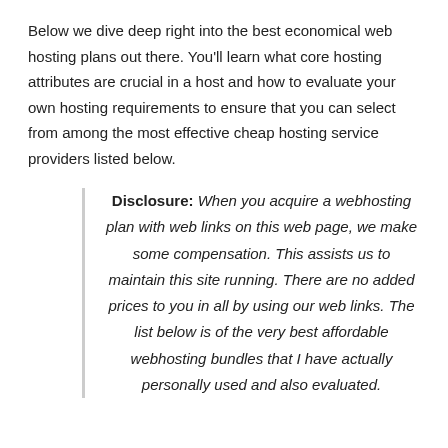Below we dive deep right into the best economical web hosting plans out there. You'll learn what core hosting attributes are crucial in a host and how to evaluate your own hosting requirements to ensure that you can select from among the most effective cheap hosting service providers listed below.
Disclosure: When you acquire a webhosting plan with web links on this web page, we make some compensation. This assists us to maintain this site running. There are no added prices to you in all by using our web links. The list below is of the very best affordable webhosting bundles that I have actually personally used and also evaluated.